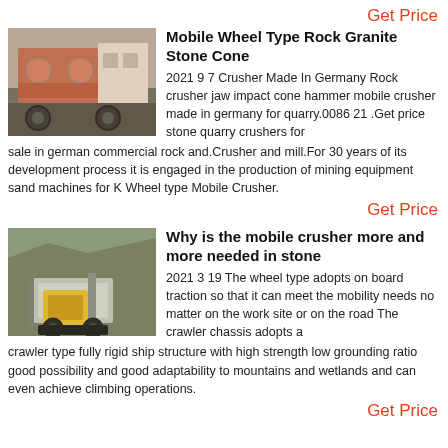Get Price
[Figure (photo): Industrial rock crusher machine, orange/red metal body with cylindrical openings]
Mobile Wheel Type Rock Granite Stone Cone
2021 9 7 Crusher Made In Germany Rock crusher jaw impact cone hammer mobile crusher made in germany for quarry.0086 21 .Get price stone quarry crushers for sale in german commercial rock and.Crusher and mill.For 30 years of its development process it is engaged in the production of mining equipment sand machines for K Wheel type Mobile Crusher.
Get Price
[Figure (photo): Mobile crusher machine on a hillside quarry, yellow jaw crusher unit visible]
Why is the mobile crusher more and more needed in stone
2021 3 19 The wheel type adopts on board traction so that it can meet the mobility needs no matter on the work site or on the road The crawler chassis adopts a crawler type fully rigid ship structure with high strength low grounding ratio good possibility and good adaptability to mountains and wetlands and can even achieve climbing operations.
Get Price